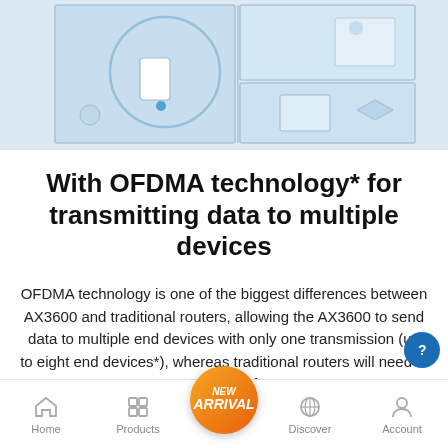[Figure (illustration): Top portion of a floor plan / smart home illustration with rooms shown in blue and white tones, partially visible at the top of the page.]
With OFDMA technology* for transmitting data to multiple devices
OFDMA technology is one of the biggest differences between AX3600 and traditional routers, allowing the AX3600 to send data to multiple end devices with only one transmission (up to eight end devices*), whereas traditional routers will need to transmit data from
Home   Products   [New Arrival]   Discover   Account